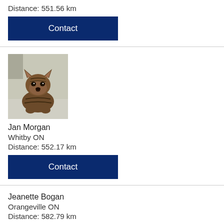Distance: 551.56 km
Contact
[Figure (photo): Photo of a small brown striped puppy sitting on a light grey surface, looking forward]
Jan Morgan
Whitby ON
Distance: 552.17 km
Contact
Jeanette Bogan
Orangeville ON
Distance: 582.79 km
Contact